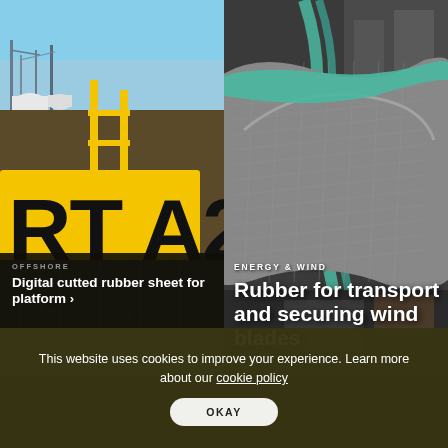[Figure (photo): Industrial port/offshore facility with yellow railings, large RT A2 signage, metal grating platform, cranes and industrial equipment in background under blue sky]
[Figure (photo): Close-up of gray rubber/composite material being rolled or bent in an industrial workshop setting]
ENERGY & WIND
Rubber for transport and securing wind blades
OFFSHORE
Digital cutted rubber sheet for platform ›
This website uses cookies to improve your experience. Learn more about our cookie policy
OKAY